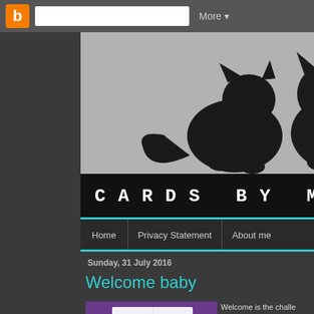Blogger navigation bar with search and More button
[Figure (illustration): Two black cat silhouettes on grey background — one facing left, one facing right — blog header image for Cards by Maaike]
CARDS BY MAAIKE
Home | Privacy Statement | About me
Sunday, 31 July 2016
Welcome baby
[Figure (photo): A white greeting card on a purple background]
Welcome is the challe original, I know ;-)
For the card I used th